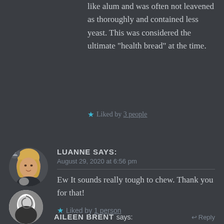like alum and was often not leavened as thoroughly and contained less yeast. This was considered the ultimate “health bread” at the time.
★ Liked by 3 people
LUANNE says: August 29, 2020 at 6:56 pm
[Figure (photo): Circular avatar photo of Luanne, a woman with blonde hair, with a small cat visible]
Ew It sounds really tough to chew. Thank you for that!
★ Liked by 1 person
AILEEN BRENT says:
[Figure (photo): Partial circular avatar photo of Aileen Brent, black and white image]